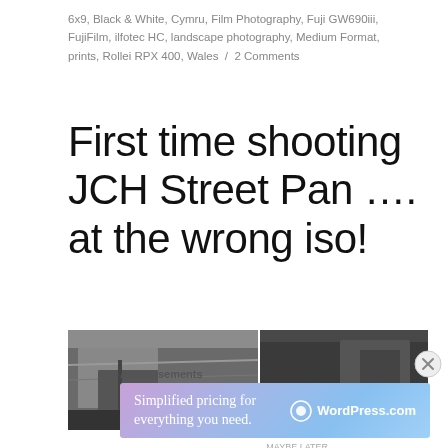6x9, Black & White, Cymru, Film Photography, Fuji GW690iii, FujiFilm, ilfotec HC, landscape photography, Medium Format, prints, Rollei RPX 400, Wales / 2 Comments
First time shooting JCH Street Pan …. at the wrong iso!
[Figure (photo): Two black and white photograph panels showing fabric/tarp and a dark scene with people or objects]
Advertisements
[Figure (infographic): WordPress.com advertisement banner: 'Simplified pricing for everything you need.' with WordPress.com logo on gradient blue/purple background]